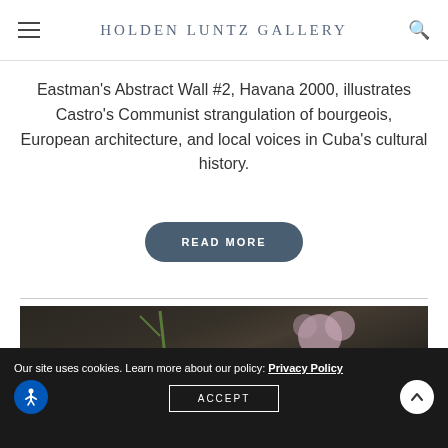Holden Luntz Gallery
Eastman's Abstract Wall #2, Havana 2000, illustrates Castro's Communist strangulation of bourgeois, European architecture, and local voices in Cuba's cultural history.
READ MORE
[Figure (photo): Photograph showing a white vase with green stems and a pink flower against a dark background]
Our site uses cookies. Learn more about our policy: Privacy Policy
ACCEPT